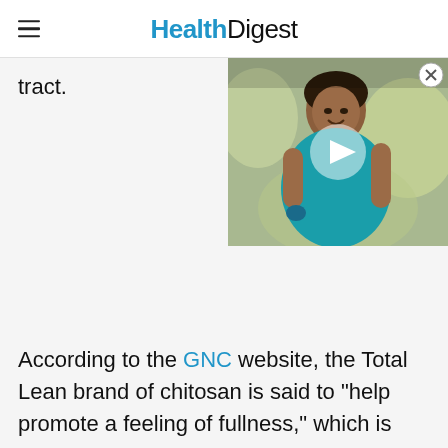Health Digest
tract.
[Figure (photo): Woman in teal shirt exercising outdoors, holding small weights, smiling. Video thumbnail with play button overlay.]
According to the GNC website, the Total Lean brand of chitosan is said to "help promote a feeling of fullness," which is